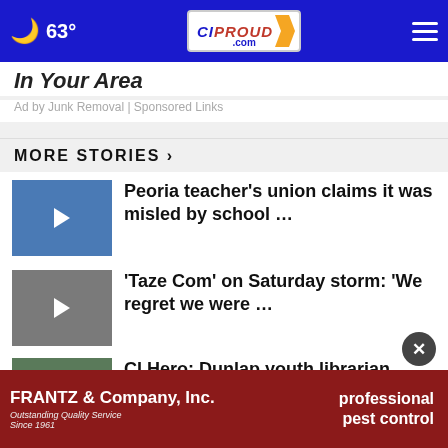63° CIProud.com
In Your Area
Ad by Junk Removal | Sponsored Links
MORE STORIES ›
Peoria teacher's union claims it was misled by school …
'Taze Com' on Saturday storm: 'We regret we were …'
CI Hero: Dunlap youth librarian creates an immersive …
Study shows manufacturing's multi-
CI Hero: Volunteers help Fulton
[Figure (screenshot): Bottom advertisement banner for FRANTZ & Company, Inc. pest control service with dark red background]
FRANTZ & Company, Inc. — professional pest control